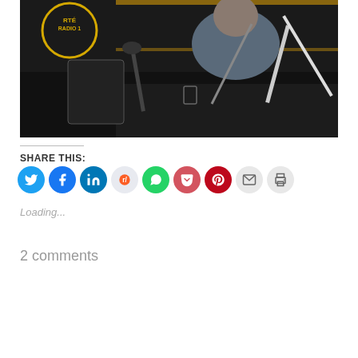[Figure (photo): A person sitting at a dark studio desk with microphones, in a radio broadcast studio with an RTE Radio 1 logo visible in the upper left corner.]
SHARE THIS:
[Figure (infographic): Row of social media sharing icon buttons: Twitter (blue), Facebook (blue), LinkedIn (dark blue), Reddit (light grey/blue), WhatsApp (green), Pocket (red), Pinterest (dark red), Email (grey), Print (grey)]
Loading...
2 comments